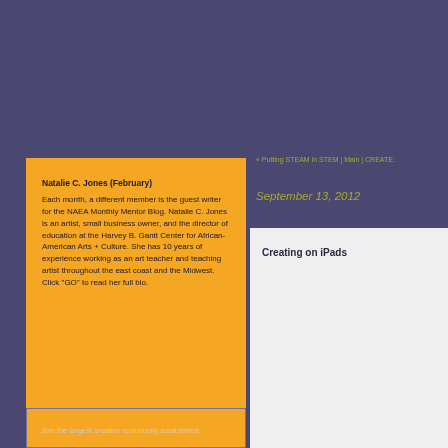« Putting STEAM in STEM | Main | CREATE:
September 13, 2012
Natalie C. Jones (February)
Each month, a different member is the guest writer for the NAEA Monthly Mentor Blog. Natalie C. Jones is an artist, small business owner, and the director of education at the Harvey B. Gantt Center for African-American Arts + Culture. She has 10 years of experience working as an art teacher and teaching artist throughout the east coast and the Midwest. Click "GO" to read her full bio.
Creating on iPads
Join the largest creative community established